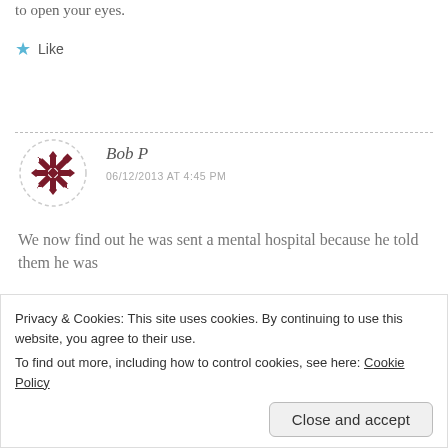to open your eyes.
★ Like
Reply
Bob P
06/12/2013 AT 4:45 PM
We now find out he was sent a mental hospital because he told them he was
Privacy & Cookies: This site uses cookies. By continuing to use this website, you agree to their use.
To find out more, including how to control cookies, see here: Cookie Policy